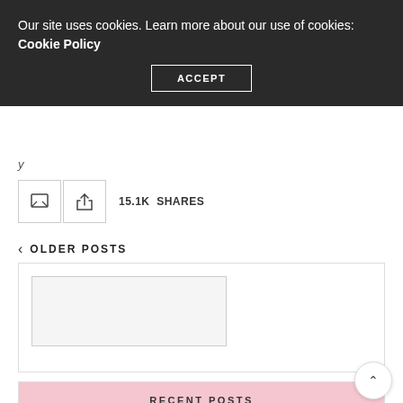Our site uses cookies. Learn more about our use of cookies: Cookie Policy
ACCEPT
y
15.1K SHARES
OLDER POSTS
[Figure (other): Post card placeholder with a light grey image placeholder box]
RECENT POSTS
Neon Green Nails to Complete Your Unique Style